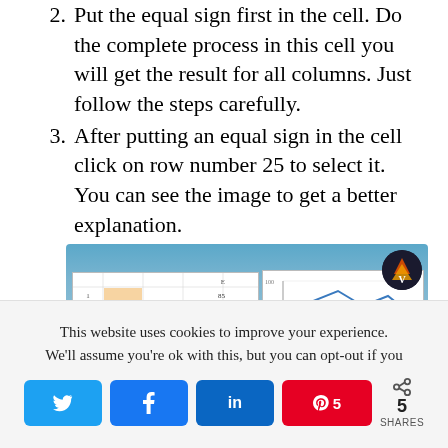2. Put the equal sign first in the cell. Do the complete process in this cell you will get the result for all columns. Just follow the steps carefully.
3. After putting an equal sign in the cell click on row number 25 to select it. You can see the image to get a better explanation.
[Figure (screenshot): Screenshot of an Excel spreadsheet showing a data table on the left with orange/red highlighted cells and a line chart on the right with blue and orange lines. A circular logo badge appears in the top right corner.]
This website uses cookies to improve your experience. We'll assume you're ok with this, but you can opt-out if you
5 SHARES